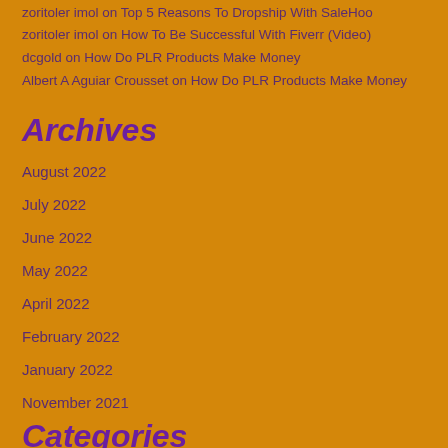zoritoler imol on Top 5 Reasons To Dropship With SaleHoo
zoritoler imol on How To Be Successful With Fiverr (Video)
dcgold on How Do PLR Products Make Money
Albert A Aguiar Crousset on How Do PLR Products Make Money
Archives
August 2022
July 2022
June 2022
May 2022
April 2022
February 2022
January 2022
November 2021
Categories